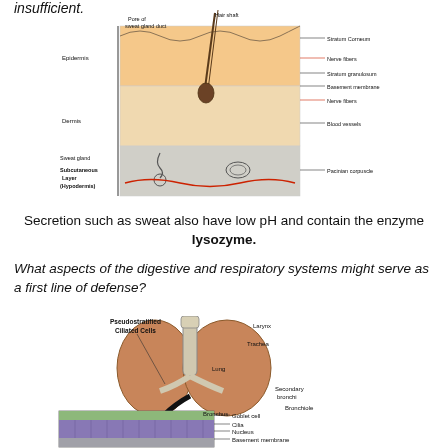insufficient.
[Figure (illustration): Cross-section diagram of skin layers showing epidermis, dermis, subcutaneous layer (hypodermis), hair shaft, pore of sweat gland duct, stratum corneum, nerve fibers, stratum granulosum, basement membrane, blood vessels, sweat gland, and Pacinian corpuscle.]
Secretion such as sweat also have low pH and contain the enzyme lysozyme.
What aspects of the digestive and respiratory systems might serve as a first line of defense?
[Figure (illustration): Diagram of the respiratory system showing pseudostratified ciliated cells, larynx, trachea, lung, bronchus, secondary bronchi, bronchiole, with a magnified inset of the epithelial lining showing goblet cell, cilia, nucleus, and basement membrane.]